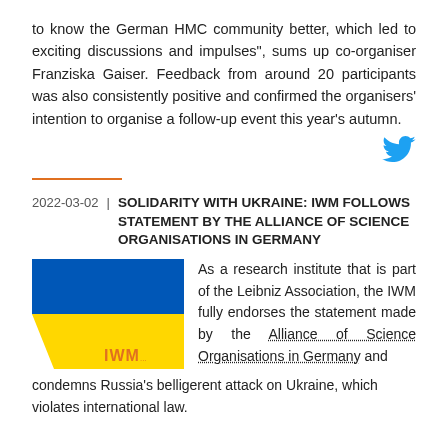to know the German HMC community better, which led to exciting discussions and impulses", sums up co-organiser Franziska Gaiser. Feedback from around 20 participants was also consistently positive and confirmed the organisers' intention to organise a follow-up event this year's autumn.
[Figure (other): Twitter bird icon in blue]
2022-03-02 | SOLIDARITY WITH UKRAINE: IWM FOLLOWS STATEMENT BY THE ALLIANCE OF SCIENCE ORGANISATIONS IN GERMANY
[Figure (illustration): Ukrainian flag (blue and yellow) with IWM logo in orange at bottom right]
As a research institute that is part of the Leibniz Association, the IWM fully endorses the statement made by the Alliance of Science Organisations in Germany and condemns Russia's belligerent attack on Ukraine, which violates international law.
Following the recommendations made in the statement, the IWM will suspend all academic cooperations with state institutions in Russia and will not initiate any new